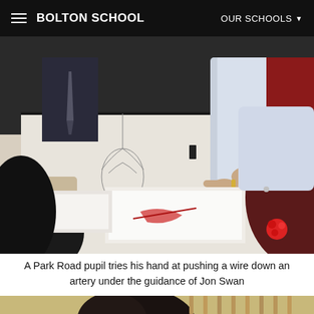BOLTON SCHOOL   OUR SCHOOLS
[Figure (photo): A Park Road pupil and an instructor (Jon Swan) leaning over a table examining diagrams and a wire model, with other students visible around the table in a classroom setting.]
A Park Road pupil tries his hand at pushing a wire down an artery under the guidance of Jon Swan
[Figure (photo): Partial view of a student from behind with dark hair, at the bottom of the page, with wooden sticks or rods visible in the background.]